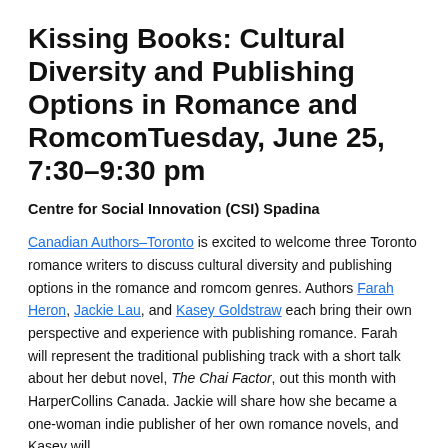Kissing Books: Cultural Diversity and Publishing Options in Romance and RomcomTuesday, June 25, 7:30–9:30 pm
Centre for Social Innovation (CSI) Spadina
Canadian Authors–Toronto is excited to welcome three Toronto romance writers to discuss cultural diversity and publishing options in the romance and romcom genres. Authors Farah Heron, Jackie Lau, and Kasey Goldstraw each bring their own perspective and experience with publishing romance. Farah will represent the traditional publishing track with a short talk about her debut novel, The Chai Factor, out this month with HarperCollins Canada. Jackie will share how she became a one-woman indie publisher of her own romance novels, and Kasey will